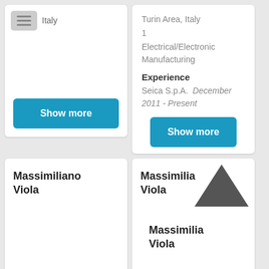[Figure (screenshot): Menu button with three horizontal bars and 'Italy' label on left card]
Turin Area, Italy
1
Electrical/Electronic Manufacturing
Experience
Seica S.p.A.  December 2011 - Present
Show more
Show more
Massimiliano Viola
Massimiliano Viola